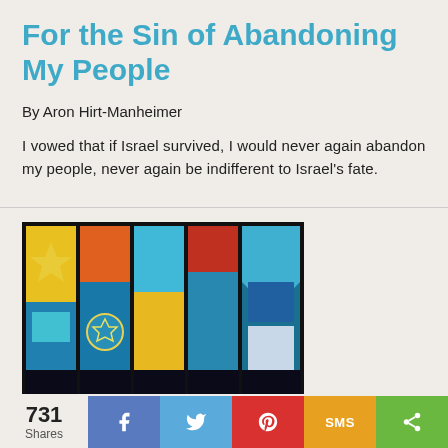For the Sin of Abandoning My People
By Aron Hirt-Manheimer
I vowed that if Israel survived, I would never again abandon my people, never again be indifferent to Israel's fate.
[Figure (photo): Colorful stained glass windows with Star of David motif, blues, yellows, reds and greens]
731 Shares